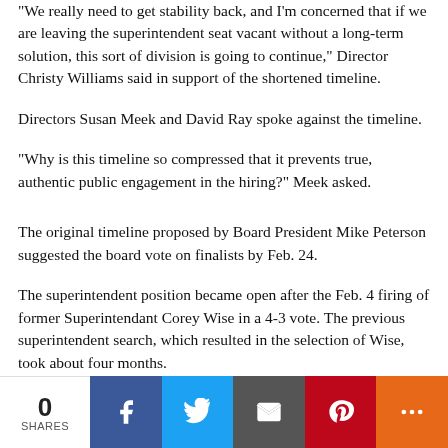“We really need to get stability back, and I’m concerned that if we are leaving the superintendent seat vacant without a long-term solution, this sort of division is going to continue,” Director Christy Williams said in support of the shortened timeline.
Directors Susan Meek and David Ray spoke against the timeline.
“Why is this timeline so compressed that it prevents true, authentic public engagement in the hiring?” Meek asked.
The original timeline proposed by Board President Mike Peterson suggested the board vote on finalists by Feb. 24.
The superintendent position became open after the Feb. 4 firing of former Superintendant Corey Wise in a 4-3 vote. The previous superintendent search, which resulted in the selection of Wise, took about four months.
Wise was selected as superintendent in April of last year
0 SHARES  [Facebook] [Twitter] [Email] [Pinterest] [More]